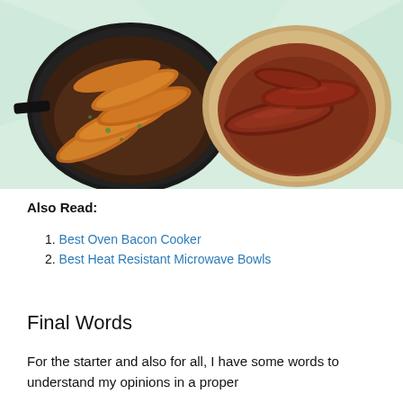[Figure (photo): Two sausage images side by side on a light green background: left shows golden-brown sausages in a black cast iron skillet with herbs; right shows dark red/brown sausages on an oval ceramic plate.]
Also Read:
1. Best Oven Bacon Cooker
2. Best Heat Resistant Microwave Bowls
Final Words
For the starter and also for all, I have some words to understand my opinions in a proper